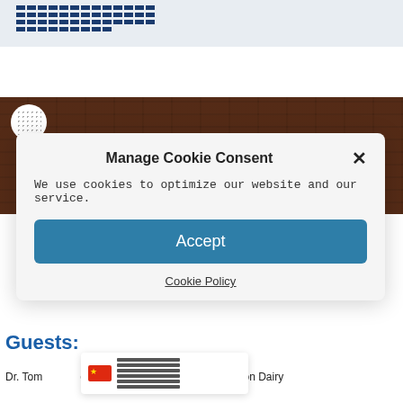[Figure (logo): Logo with horizontal bar rows in dark blue]
[Figure (photo): Dark brick wall background with circular badge logo and text 'Corwin Holtz, Holtz-Nelson Dairy Consultants']
Manage Cookie Consent
We use cookies to optimize our website and our service.
Accept
Cookie Policy
Guests:
Dr. Tom [Cornell] University & Corwin Holtz, Nelson Dairy